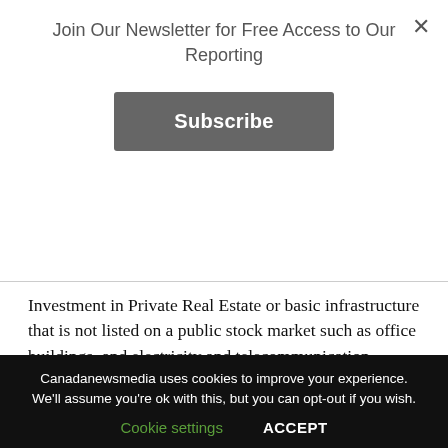×
Join Our Newsletter for Free Access to Our Reporting
Subscribe
Investment in Private Real Estate or basic infrastructure that is not listed on a public stock market such as office buildings, and electricity and telecommunication projects, can help diversify risks in a volatile market, as well.
Properties with high rental rates offer investors a greater opportunity to enjoy steady returns. Investment in Private Real Estate is ideal for present investment
Canadanewsmedia uses cookies to improve your experience. We'll assume you're ok with this, but you can opt-out if you wish.
Cookie settings   ACCEPT